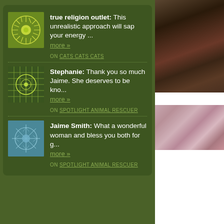true religion outlet: This unrealistic approach will sap your energy ... more » ON CATS CATS CATS
Stephanie: Thank you so much Jaime. She deserves to be kno... more » ON SPOTLIGHT ANIMAL RESCUER
Jaime Smith: What a wonderful woman and bless you both for g... more » ON SPOTLIGHT ANIMAL RESCUER
[Figure (photo): Dark textured surface photo, top right]
[Figure (photo): Pink/rose textured surface photo, bottom right]